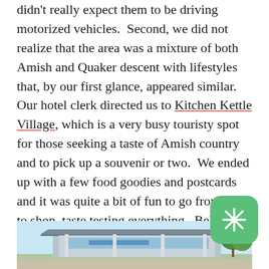didn't really expect them to be driving motorized vehicles.  Second, we did not realize that the area was a mixture of both Amish and Quaker descent with lifestyles that, by our first glance, appeared similar.  Our hotel clerk directed us to Kitchen Kettle Village, which is a very busy touristy spot for those seeking a taste of Amish country and to pick up a souvenir or two.  We ended up with a few food goodies and postcards and it was quite a bit of fun to go from shop to shop, taste testing everything.  Below is a picture of the Village Quilt Store - a place where you can purchase quilts made by the local Amish ladies.  Our family enjoyed looking at them up close and personal and recognized many familiar fabrics from our fabric shops back home.
[Figure (photo): Partial view of a building (Village Quilt Store) with a blue sky background and some trees visible on the right edge]